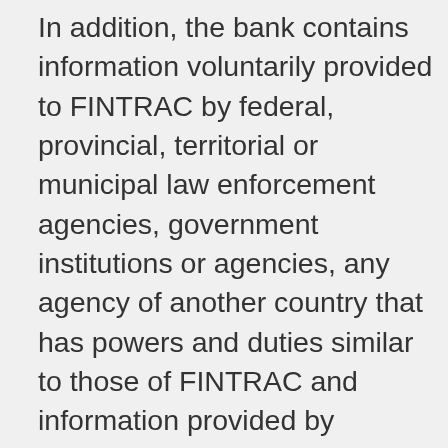In addition, the bank contains information voluntarily provided to FINTRAC by federal, provincial, territorial or municipal law enforcement agencies, government institutions or agencies, any agency of another country that has powers and duties similar to those of FINTRAC and information provided by members of the public about suspicions of money laundering and/or the financing of terrorist activities. The bank also contains